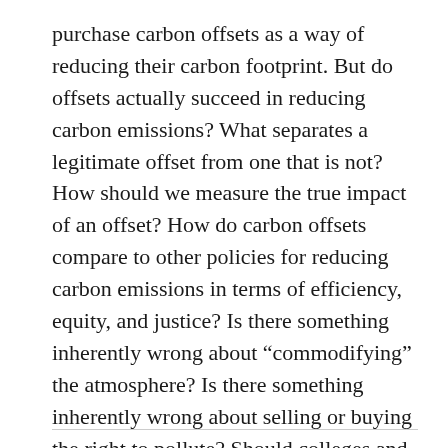purchase carbon offsets as a way of reducing their carbon footprint. But do offsets actually succeed in reducing carbon emissions? What separates a legitimate offset from one that is not? How should we measure the true impact of an offset? How do carbon offsets compare to other policies for reducing carbon emissions in terms of efficiency, equity, and justice? Is there something inherently wrong about “commodifying” the atmosphere? Is there something inherently wrong about selling or buying the right to pollute? Should colleges and universities be using the purchase of offsets to achieve “carbon neutrality?”